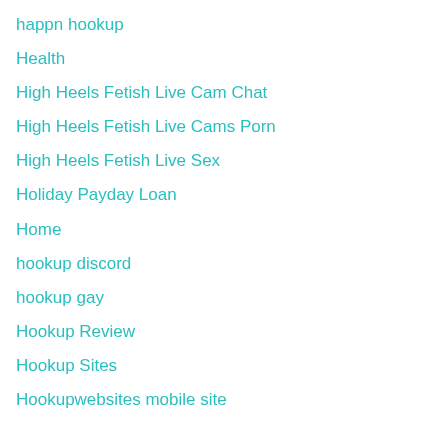happn hookup
Health
High Heels Fetish Live Cam Chat
High Heels Fetish Live Cams Porn
High Heels Fetish Live Sex
Holiday Payday Loan
Home
hookup discord
hookup gay
Hookup Review
Hookup Sites
Hookupwebsites mobile site